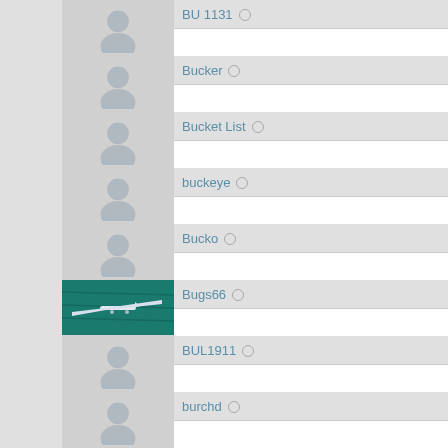BU 1131
Bucker
Bucket List
buckeye
Bucko
Bugs66
BUL1911
burchd